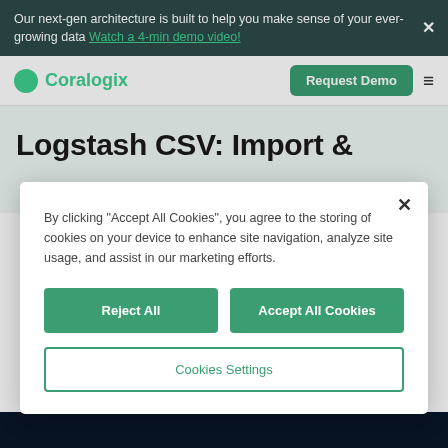Our next-gen architecture is built to help you make sense of your ever-growing data Watch a 4-min demo video!
[Figure (logo): Coralogix logo with green circle and green text]
Request Demo
Logstash CSV: Import &
By clicking “Accept All Cookies”, you agree to the storing of cookies on your device to enhance site navigation, analyze site usage, and assist in our marketing efforts.
Reject All
Accept All Cookies
Cookies Settings